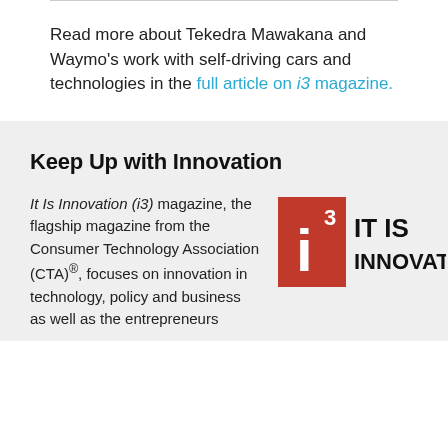Read more about Tekedra Mawakana and Waymo's work with self-driving cars and technologies in the full article on i3 magazine.
Keep Up with Innovation
It Is Innovation (i3) magazine, the flagship magazine from the Consumer Technology Association (CTA)®, focuses on innovation in technology, policy and business as well as the entrepreneurs
[Figure (logo): It Is Innovation (i3) magazine logo — red square with white letter 'i' and superscript '3', next to bold black text 'IT IS INNOVATION']